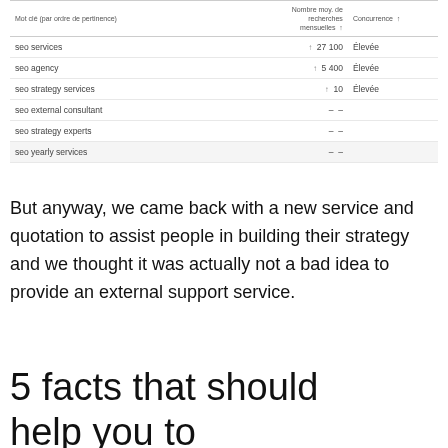| Mot clé (par ordre de pertinence) |  | Nombre moy. de recherches mensuelles ↑ | Concurrence ↑ |
| --- | --- | --- | --- |
| seo services | ↑ | 27 100 | Élevée |
| seo agency | ↑ | 5 400 | Élevée |
| seo strategy services | ↑ | 10 | Élevée |
| seo external consultant |  | – | – |
| seo strategy experts |  | – | – |
| seo yearly services |  | – | – |
But anyway, we came back with a new service and quotation to assist people in building their strategy and we thought it was actually not a bad idea to provide an external support service.
5 facts that should help you to